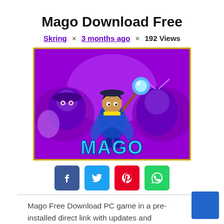Mago Download Free
Skring × 3 months ago × 192 Views
[Figure (illustration): Game artwork for Mago: a cartoon mage character holding a glowing blue orb, surrounded by purple monster characters, with the word MAGO in large stylized letters at the bottom. Purple background with yellow border.]
Social share buttons: Facebook, Twitter, Pinterest, WhatsApp
Mago Free Download PC game in a pre-installed direct link with updates and